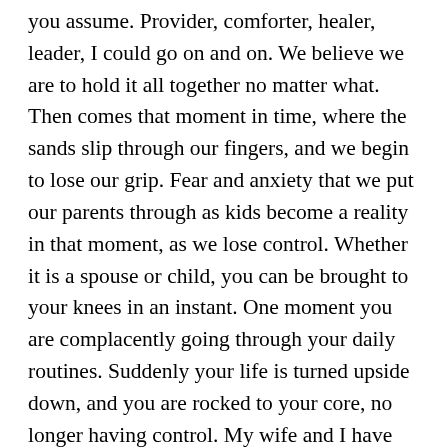you assume. Provider, comforter, healer, leader, I could go on and on. We believe we are to hold it all together no matter what. Then comes that moment in time, where the sands slip through our fingers, and we begin to lose our grip. Fear and anxiety that we put our parents through as kids become a reality in that moment, as we lose control. Whether it is a spouse or child, you can be brought to your knees in an instant. One moment you are complacently going through your daily routines. Suddenly your life is turned upside down, and you are rocked to your core, no longer having control. My wife and I have not been blessed with children. I witnessed the stripping of all my power as illness took over her life. In a moment we went from our daily routines to feeling like we were barely breathing. Days and nights blended as I remained at her bedside. Every needle and pill she